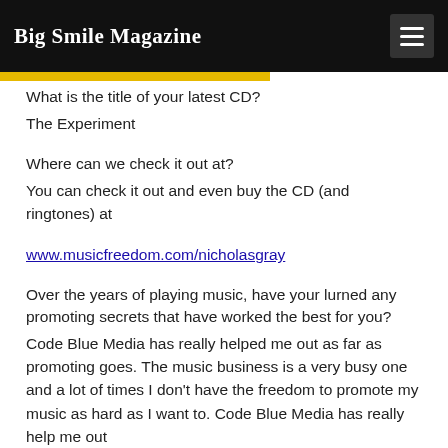Big Smile Magazine
What is the title of your latest CD?
The Experiment
Where can we check it out at?
You can check it out and even buy the CD (and ringtones) at www.musicfreedom.com/nicholasgray
Over the years of playing music, have your lurned any promoting secrets that have worked the best for you?
Code Blue Media has really helped me out as far as promoting goes. The music business is a very busy one and a lot of times I don't have the freedom to promote my music as hard as I want to. Code Blue Media has really help me out